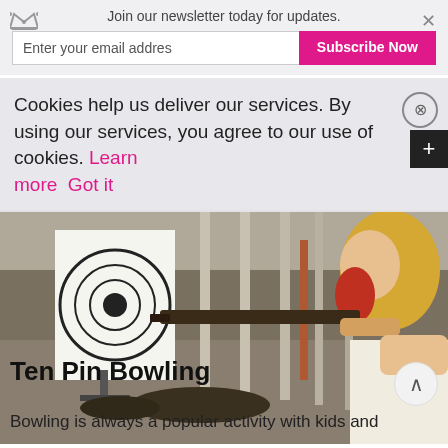Join our newsletter today for updates.
Cookies help us deliver our services. By using our services, you agree to our use of cookies. Learn more  Got it
[Figure (photo): A person with blonde hair at a shooting range, aiming a rifle toward paper targets on stands in a concrete corridor]
Ten Pin Bowling
Bowling is always a popular activity with kids and